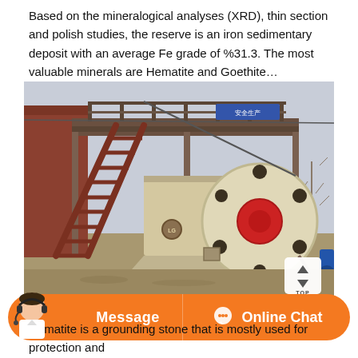Based on the mineralogical analyses (XRD), thin section and polish studies, the reserve is an iron sedimentary deposit with an average Fe grade of %31.3. The most valuable minerals are Hematite and Goethite…
[Figure (photo): Outdoor photo of a large industrial jaw crusher or impact crushing machine with a prominent circular flywheel (cream/white with red center and dark bolt holes), mounted on a heavy steel frame structure with rust-colored metal stairs and a raised platform. Chinese signage visible in the upper right area of the structure. Blue machinery visible at far right edge. Photo taken at an industrial/mining site.]
Hematite is a grounding stone that is mostly used for protection and